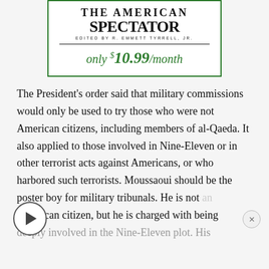[Figure (logo): The American Spectator magazine logo with tagline 'EDITED BY R. EMMETT TYRRELL, JR.' and subscription price 'only $10.99/month' in a green-bordered box]
The President's order said that military commissions would only be used to try those who were not American citizens, including members of al-Qaeda. It also applied to those involved in Nine-Eleven or in other terrorist acts against Americans, or who harbored such terrorists. Moussaoui should be the poster boy for military tribunals. He is not an American citizen, but he is charged with being deeply involved in the Nine-Eleven plot. His